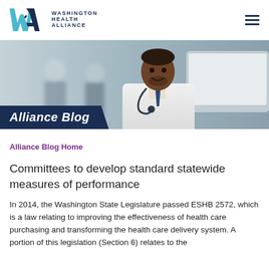Washington Health Alliance
[Figure (photo): A smiling Black male doctor in a white coat with stethoscope looking at a laptop screen, with blurred people in background]
Alliance Blog
Alliance Blog Home
Committees to develop standard statewide measures of performance
In 2014, the Washington State Legislature passed ESHB 2572, which is a law relating to improving the effectiveness of health care purchasing and transforming the health care delivery system. A portion of this legislation (Section 6) relates to the